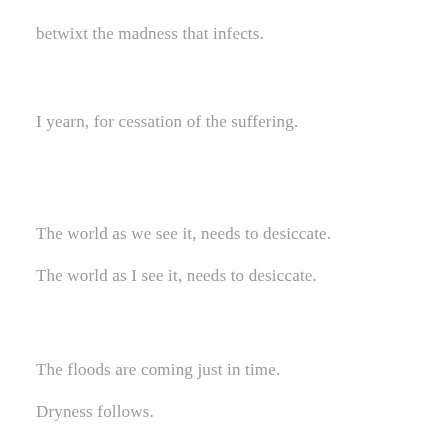betwixt the madness that infects.
I yearn, for cessation of the suffering.
The world as we see it, needs to desiccate.
The world as I see it, needs to desiccate.
The floods are coming just in time.
Dryness follows.